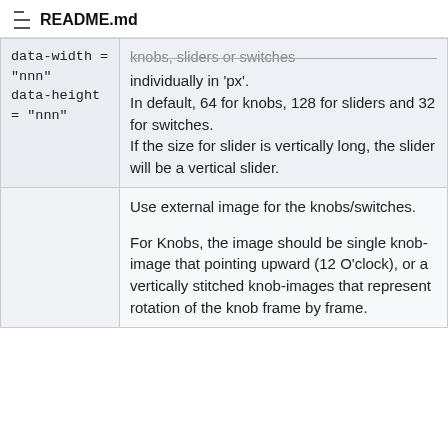README.md
| data-width = "nnn"
data-height = "nnn" | knobs, sliders or switches individually in 'px'.
In default, 64 for knobs, 128 for sliders and 32 for switches.
If the size for slider is vertically long, the slider will be a vertical slider. |
|  | Use external image for the knobs/switches.

For Knobs, the image should be single knob-image that pointing upward (12 O'clock), or a vertically stitched knob-images that represent rotation of the knob frame by frame. |